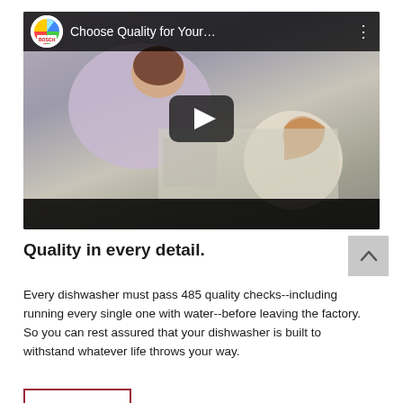[Figure (screenshot): YouTube video thumbnail showing a Bosch channel video titled 'Choose Quality for Your...' with a woman and child in a kitchen scene, featuring a play button overlay and black top/bottom bars.]
Quality in every detail.
Every dishwasher must pass 485 quality checks--including running every single one with water--before leaving the factory. So you can rest assured that your dishwasher is built to withstand whatever life throws your way.